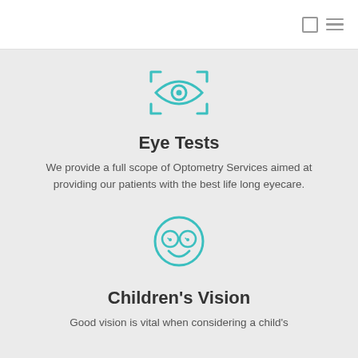[Figure (illustration): Teal/cyan icon of an eye inside a bracket/scan frame (eye examination scan icon)]
Eye Tests
We provide a full scope of Optometry Services aimed at providing our patients with the best life long eyecare.
[Figure (illustration): Teal/cyan icon of a smiley face wearing round glasses (children's vision icon)]
Children's Vision
Good vision is vital when considering a child's